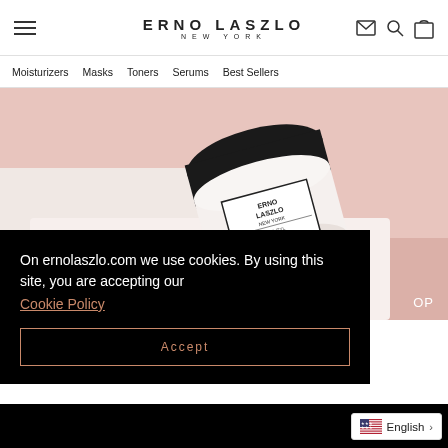ERNO LASZLO NEW YORK
Moisturizers  Masks  Toners  Serums  Best Sellers
[Figure (photo): Erno Laszlo skincare jar (Phelityl Night Cream / Crème de Nuit Loose) with black lid and white body on a pink and white surface]
On ernolaszlo.com we use cookies. By using this site, you are accepting our
Cookie Policy
Accept
English